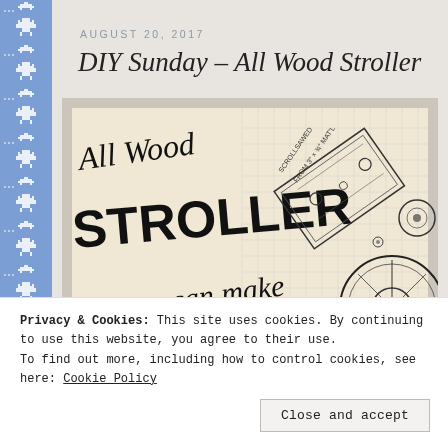AUGUST 20, 2017
DIY Sunday – All Wood Stroller
[Figure (photo): A vintage woodworking pattern/plan page showing 'All Wood STROLLER you can make' text with scrollsaw construction diagrams on grid paper, showing wheels and assembly details.]
Privacy & Cookies: This site uses cookies. By continuing to use this website, you agree to their use.
To find out more, including how to control cookies, see here: Cookie Policy
Close and accept